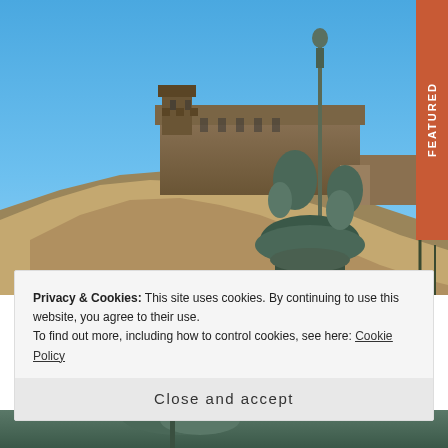[Figure (photo): Edinburgh Castle on rocky hill with bronze Ross Fountain statue in foreground, blue sky background]
FEATURED
Privacy & Cookies: This site uses cookies. By continuing to use this website, you agree to their use.
To find out more, including how to control cookies, see here: Cookie Policy
Close and accept
[Figure (photo): Partial view of another outdoor photo at bottom of page]